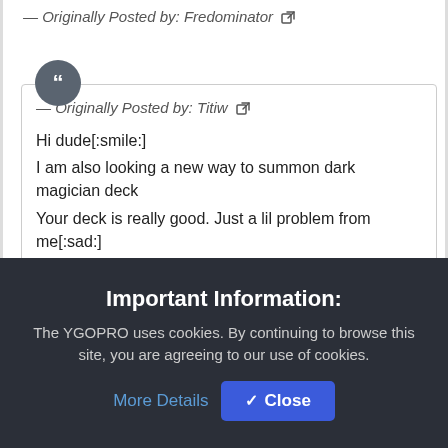— Originally Posted by: Fredominator
— Originally Posted by: Titiw
Hi dude[:smile:]
I am also looking a new way to summon dark magician deck
Your deck is really good. Just a lil problem from me[:sad:]

seems Dark Magician is not the "main actor" in
Important Information:
The YGOPRO uses cookies. By continuing to browse this site, you are agreeing to our use of cookies.
More Details
Close